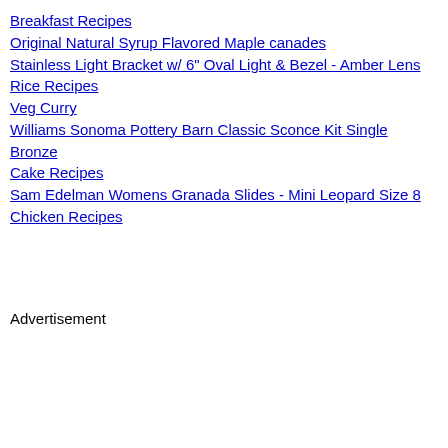Breakfast Recipes
Original Natural Syrup Flavored Maple canades
Stainless Light Bracket w/ 6" Oval Light & Bezel - Amber Lens
Rice Recipes
Veg Curry
Williams Sonoma Pottery Barn Classic Sconce Kit Single Bronze
Cake Recipes
Sam Edelman Womens Granada Slides - Mini Leopard Size 8
Chicken Recipes
Advertisement